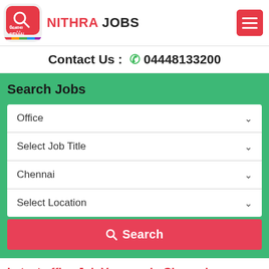[Figure (logo): Nithra Jobs logo with Tamil text and colorful bottom strip]
NITHRA JOBS
[Figure (other): Red hamburger menu button with three white lines]
Contact Us :  04448133200
Search Jobs
Office
Select Job Title
Chennai
Select Location
Search
Latest office Job Vacancy in Chennai